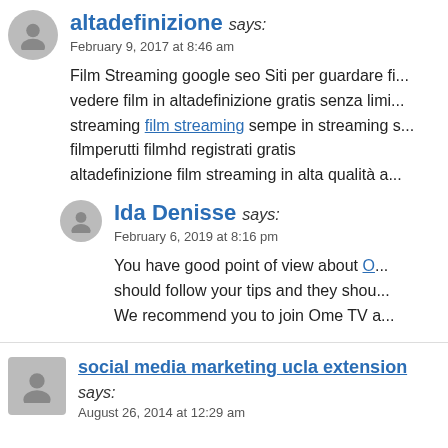altadefinizione says: February 9, 2017 at 8:46 am
Film Streaming google seo Siti per guardare fi... vedere film in altadefinizione gratis senza limi... streaming film streaming sempe in streaming s... filmperutti filmhd registrati gratis altadefinizione film streaming in alta qualità a...
Ida Denisse says: February 6, 2019 at 8:16 pm
You have good point of view about O... should follow your tips and they shou... We recommend you to join Ome TV a...
social media marketing ucla extension says: August 26, 2014 at 12:29 am